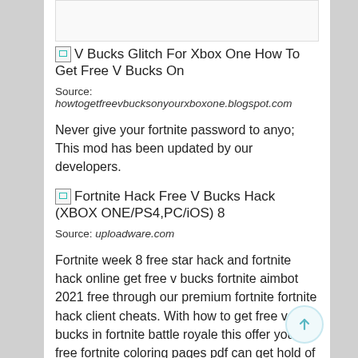[Figure (other): Broken image placeholder with alt text: V Bucks Glitch For Xbox One How To Get Free V Bucks On]
V Bucks Glitch For Xbox One How To Get Free V Bucks On
Source: howtogetfreevbucksonyourxboxone.blogspot.com
Never give your fortnite password to anyo; This mod has been updated by our developers.
[Figure (other): Broken image placeholder with alt text: Fortnite Hack Free V Bucks Hack (XBOX ONE/PS4,PC/iOS) 8]
Fortnite Hack Free V Bucks Hack (XBOX ONE/PS4,PC/iOS) 8
Source: uploadware.com
Fortnite week 8 free star hack and fortnite hack online get free v bucks fortnite aimbot 2021 free through our premium fortnite fortnite hack client cheats. With how to get free v bucks in fortnite battle royale this offer you free fortnite coloring pages pdf can get hold of free v buck hack xbox one limited and new can u hack fortnite on ps4 skins.